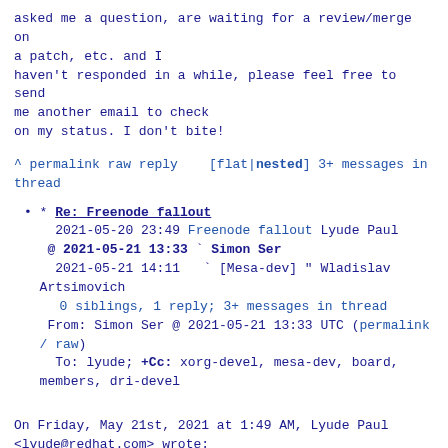asked me a question, are waiting for a review/merge on a patch, etc. and I haven't responded in a while, please feel free to send me another email to check on my status. I don't bite!
^ permalink raw reply   [flat|nested] 3+ messages in thread
* Re: Freenode fallout
2021-05-20 23:49 Freenode fallout Lyude Paul
@ 2021-05-21 13:33 ` Simon Ser
2021-05-21 14:11   ` [Mesa-dev] " Wladislav Artsimovich
0 siblings, 1 reply; 3+ messages in thread
From: Simon Ser @ 2021-05-21 13:33 UTC (permalink / raw)
To: lyude; +Cc: xorg-devel, mesa-dev, board, members, dri-devel
On Friday, May 21st, 2021 at 1:49 AM, Lyude Paul <lyude@redhat.com> wrote:
> After considering Libera and OFTC as options, the board settled on
> recommending OFTC. The primary reason for this is because OFTC is
> associated with our parent foundation SPI, and has a long and well known